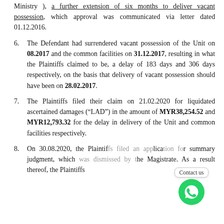Ministry ), a further extension of six months to deliver vacant possession, which approval was communicated via letter dated 01.12.2016.
6. The Defendant had surrendered vacant possession of the Unit on 08.2017 and the common facilities on 31.12.2017, resulting in what the Plaintiffs claimed to be, a delay of 183 days and 306 days respectively, on the basis that delivery of vacant possession should have been on 28.02.2017.
7. The Plaintiffs filed their claim on 21.02.2020 for liquidated ascertained damages (“LAD”) in the amount of MYR38,254.52 and MYR12,793.32 for the delay in delivery of the Unit and common facilities respectively.
8. On 30.08.2020, the Plaintiffs filed an application for summary judgment, which was dismissed by the Magistrate. As a result thereof, the Plaintiffs